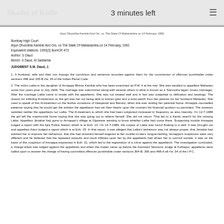Shades of Knife   3 minutes left
Arjun Dhondiba Kamble And Ors. vs. The State Of Maharashtra on 14 February, 1992
Bombay High Court
Arjun Dhondiba Kamble And Ors. vs The State Of Maharashtra on 14 February, 1992
Equivalent citations: 1993(3) BomCR 473
Author: S Daud
Bench: S Daud, M Saldanha
JUDGMENT S.M. Daud, J.
1. A husband, wife and their son impugn the conviction and sentence recorded against them for the commission of offences punishable under sections 498 and 105-B r/w. 34 of the Indian Penal Code.
2. The victim Lalita is the daughter of Annappa Bhima Kamble who has been examined as P.W. 4 at the trial. She was wedded to appellant Mahadeo some four years prior to July 1969. The marriage was solemnized along with several others in what is known as a 'Samooha lagan' (mass marriage). After the marriage Lalita came to reside with the appellants. She was not treated well and in fact was subjected to vilification and beatings. The reason for inflicting ill-treatment on the girl was her not being able to extract gold and a wrist-watch from her parents for her husband Mahadeo. She used to speak of this ill-treatment on the festive occasions of Deepavali and Bendur, when she was visiting her parental home. Annappa counselled patience saying that he would get the articles the appellants had set their hearts upon the moment his financial position so permitted. The answers satisfied neither the appellants nor Lalita. The ill-treatment to which she had been subjected increased in frequency as also intensity. On 12-7-1989 the girl left the matrimonial home saying that she was going out to relieve herself. She did not return. That led to a frantic search for the missing Lalita. Appellant Jenabai had gone to Annappa's village at Gijawane wanting to know whether Lalita had come there. Suspecting trouble Annappa lodged a report with the Ajra Police Station which is at Exh. 13. On 14-7-1989, the corpse of Lalita was found floating in a well. It was brought out and appellant Arjun lodged a report which is at Exh. 25. In that report, it was alleged that Lalita's behaviour was not always proper, that Jenabai had advised her to improve her behaviour, that she had drowned herself angered at her mother-in-law's tongue-lashing. Annappa's suspicions were very different and he believed that the repeated assaults and insult inflicted upon her by the appellants had driven her to commit suicide. It was on the basis of this suspicion of Annappa expressed in Exh. 21, which led to the registration of a crime against the appellants. The investigation concluded, a charge-sheet was lodged against the appellants and when the matter came up before the Assistant Sessions Judge at Kolhapur, appellants were called upon to answer the charge of having committed offences punishable under sections 304-B, 306 and 498-A all r/w. 34 of the I.P.C.